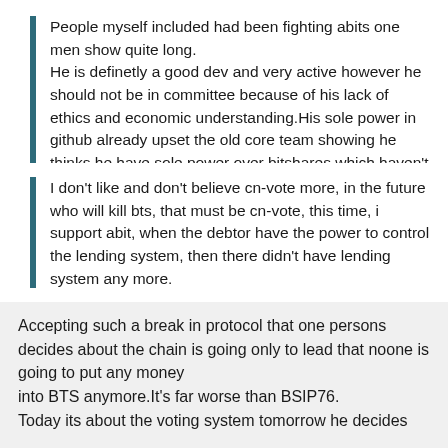People myself included had been fighting abits one men show quite long. He is definetly a good dev and very active however he should not be in committee because of his lack of ethics and economic understanding.His sole power in github already upset the old core team showing he thinks he have sole power over bitshares which haven't changed till today which is why cn-vote had to fork it.
I don't like and don't believe cn-vote more, in the future who will kill bts, that must be cn-vote, this time, i support abit, when the debtor have the power to control the lending system, then there didn't have lending system any more.
Accepting such a break in protocol that one persons decides about the chain is going only to lead that noone is going to put any money into BTS anymore.It's far worse than BSIP76. Today its about the voting system tomorrow he decides